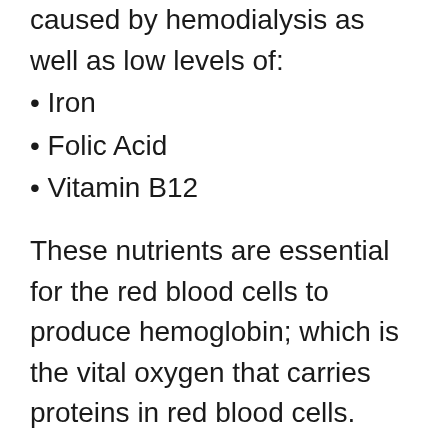caused by hemodialysis as well as low levels of:
Iron
Folic Acid
Vitamin B12
These nutrients are essential for the red blood cells to produce hemoglobin; which is the vital oxygen that carries proteins in red blood cells.